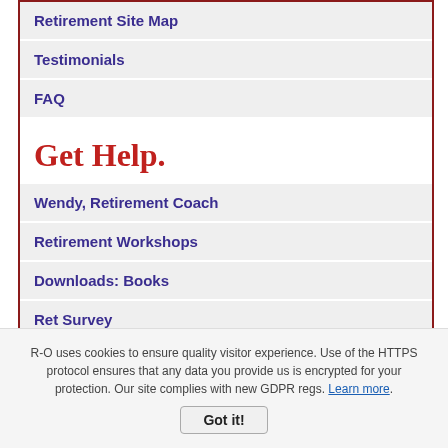Retirement Site Map
Testimonials
FAQ
Get Help.
Wendy, Retirement Coach
Retirement Workshops
Downloads: Books
Ret Survey
Copyright © 2009-2022   All rights reserved
R-O uses cookies to ensure quality visitor experience. Use of the HTTPS protocol ensures that any data you provide us is encrypted for your protection. Our site complies with new GDPR regs. Learn more.
Got it!